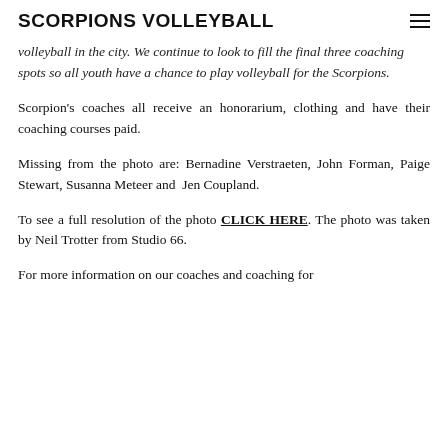SCORPIONS VOLLEYBALL
volleyball in the city. We continue to look to fill the final three coaching spots so all youth have a chance to play volleyball for the Scorpions.
Scorpion's coaches all receive an honorarium, clothing and have their coaching courses paid.
Missing from the photo are: Bernadine Verstraeten, John Forman, Paige Stewart, Susanna Meteer and Jen Coupland.
To see a full resolution of the photo CLICK HERE. The photo was taken by Neil Trotter from Studio 66.
For more information on our coaches and coaching for